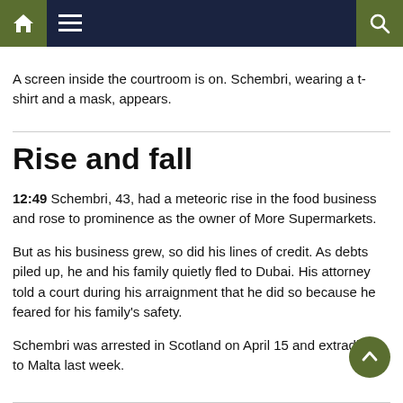Navigation bar with home, menu, and search icons
A screen inside the courtroom is on. Schembri, wearing a t-shirt and a mask, appears.
Rise and fall
12:49 Schembri, 43, had a meteoric rise in the food business and rose to prominence as the owner of More Supermarkets.
But as his business grew, so did his lines of credit. As debts piled up, he and his family quietly fled to Dubai. His attorney told a court during his arraignment that he did so because he feared for his family's safety.
Schembri was arrested in Scotland on April 15 and extradited to Malta last week.